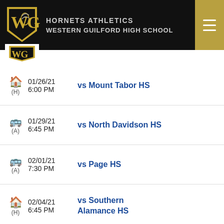HORNETS ATHLETICS
WESTERN GUILFORD HIGH SCHOOL
(H) 01/26/21 6:00 PM vs Mount Tabor HS
(A) 01/29/21 6:45 PM vs North Davidson HS
(A) 02/01/21 7:30 PM vs Page HS
(H) 02/04/21 6:45 PM vs Southern Alamance HS
(A) 02/09/21 6:00 PM vs Bishop McGuinn...
(A) 02/10/21 6:00 PM vs West Stokes HS